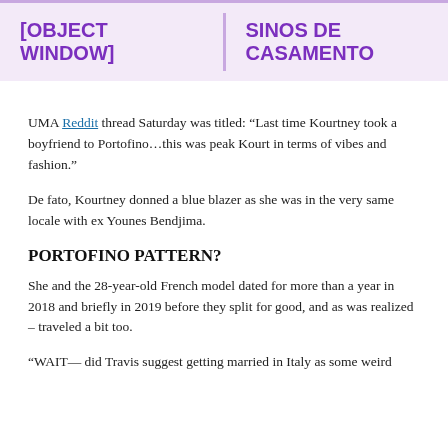[OBJECT WINDOW]
SINOS DE CASAMENTO
UMA Reddit thread Saturday was titled: “Last time Kourtney took a boyfriend to Portofino…this was peak Kourt in terms of vibes and fashion.”
De fato, Kourtney donned a blue blazer as she was in the very same locale with ex Younes Bendjima.
PORTOFINO PATTERN?
She and the 28-year-old French model dated for more than a year in 2018 and briefly in 2019 before they split for good, and as was realized – traveled a bit too.
“WAIT— did Travis suggest getting married in Italy as some weird